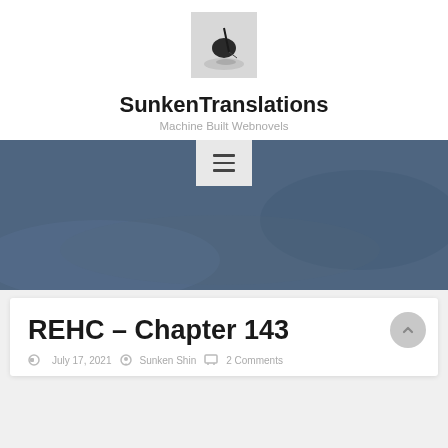[Figure (photo): Small black and white photo of what appears to be a small boat or dark object on water, used as site logo for SunkenTranslations]
SunkenTranslations
Machine Built Webnovels
[Figure (screenshot): Dark blue-gray hero banner image with a hamburger menu button overlay at the top center]
REHC – Chapter 143
July 17, 2021   Sunken Shin   2 Comments